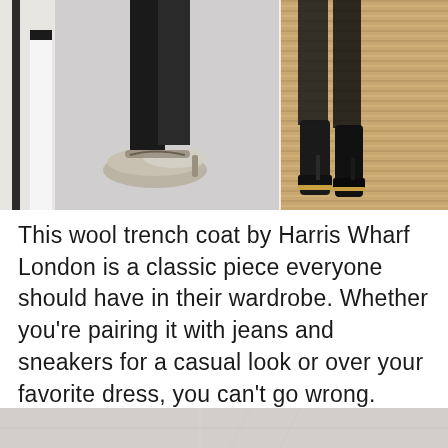[Figure (photo): Two side-by-side fashion photos showing shoes/boots on different floor surfaces — left shows silver/printed mules on a grey floor, right shows black ankle boots on a woven jute rug texture.]
This wool trench coat by Harris Wharf London is a classic piece everyone should have in their wardrobe. Whether you're pairing it with jeans and sneakers for a casual look or over your favorite dress, you can't go wrong.
[Figure (photo): Partial bottom edge of another fashion photo, cropped.]